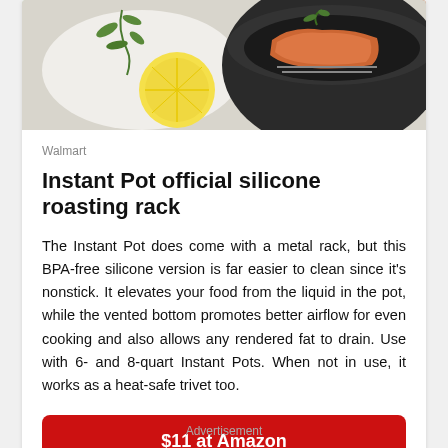[Figure (photo): Product photo showing an Instant Pot with food inside and a lemon with herbs on the side]
Walmart
Instant Pot official silicone roasting rack
The Instant Pot does come with a metal rack, but this BPA-free silicone version is far easier to clean since it's nonstick. It elevates your food from the liquid in the pot, while the vented bottom promotes better airflow for even cooking and also allows any rendered fat to drain. Use with 6- and 8-quart Instant Pots. When not in use, it works as a heat-safe trivet too.
$11 at Amazon
Advertisement